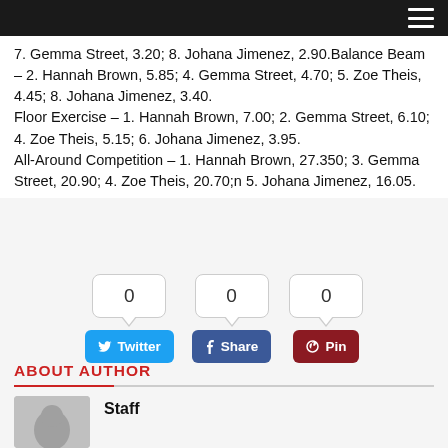7. Gemma Street, 3.20; 8. Johana Jimenez, 2.90.Balance Beam – 2. Hannah Brown, 5.85; 4. Gemma Street, 4.70; 5. Zoe Theis, 4.45; 8. Johana Jimenez, 3.40.
Floor Exercise – 1. Hannah Brown, 7.00; 2. Gemma Street, 6.10; 4. Zoe Theis, 5.15; 6. Johana Jimenez, 3.95.
All-Around Competition – 1. Hannah Brown, 27.350; 3. Gemma Street, 20.90; 4. Zoe Theis, 20.70;n 5. Johana Jimenez, 16.05.
[Figure (infographic): Three social share buttons: Twitter (0 shares), Facebook Share (0 shares), Pinterest Pin (0 shares)]
ABOUT AUTHOR
Staff